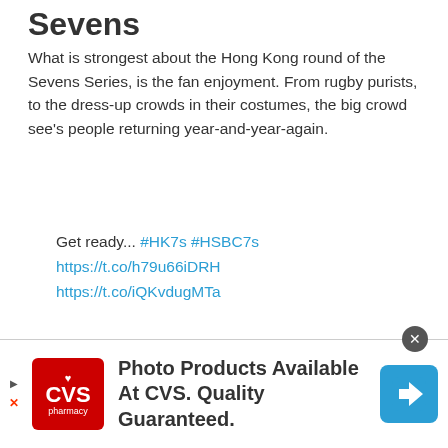Sevens
What is strongest about the Hong Kong round of the Sevens Series, is the fan enjoyment. From rugby purists, to the dress-up crowds in their costumes, the big crowd see's people returning year-and-year-again.
Get ready... #HK7s #HSBC7s https://t.co/h79u66iDRH https://t.co/iQKvdugMTa
— HSBC (@HSBC) March 31, 2017
Heading into the 2017 tournament, the main draw has been made. Four pools will see the best teams
[Figure (other): CVS Pharmacy advertisement banner: Photo Products Available At CVS. Quality Guaranteed.]